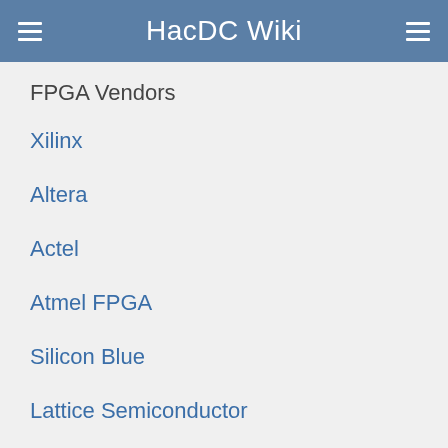HacDC Wiki
FPGA Vendors
Xilinx
Altera
Actel
Atmel FPGA
Silicon Blue
Lattice Semiconductor
Achronix